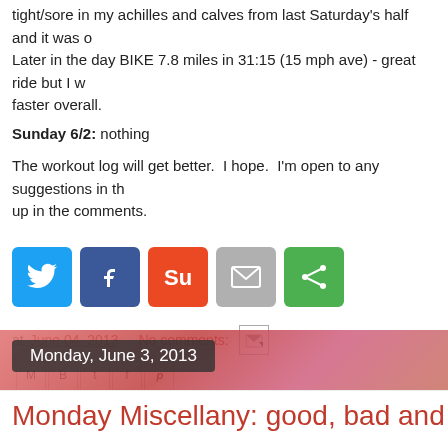tight/sore in my achilles and calves from last Saturday's half and it was ok. Later in the day BIKE 7.8 miles in 31:15 (15 mph ave) - great ride but I w... faster overall.
Sunday 6/2: nothing
The workout log will get better. I hope. I'm open to any suggestions in th... up in the comments.
[Figure (infographic): Social share buttons: Twitter (blue), Facebook (dark blue), StumbleUpon (orange-red), Email (gray), Share (green)]
at June 04, 2013   No comments:
Labels: runchat, Tri del Sol, tri training
Monday, June 3, 2013
Monday Miscellany: good, bad and u